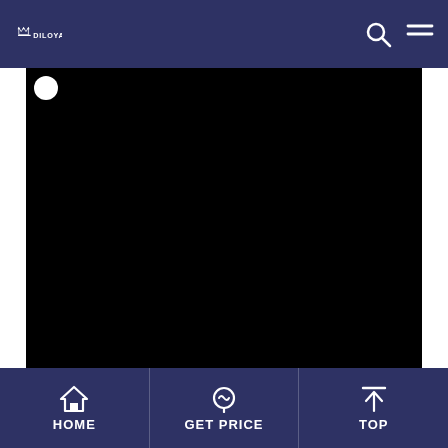DILOYA
[Figure (screenshot): Black video/image area in the center of the page with white side borders]
HOME | GET PRICE | TOP